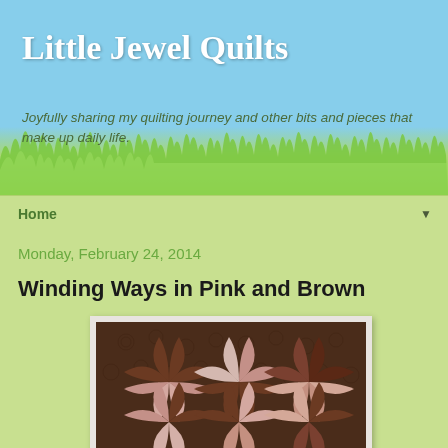Little Jewel Quilts
Joyfully sharing my quilting journey and other bits and pieces that make up daily life.
Home ▼
Monday, February 24, 2014
Winding Ways in Pink and Brown
[Figure (photo): A quilt with Winding Ways pattern in pink and brown colors, showing curved petal/fan shapes arranged in a pinwheel pattern against a dark brown background with quilted swirl designs.]